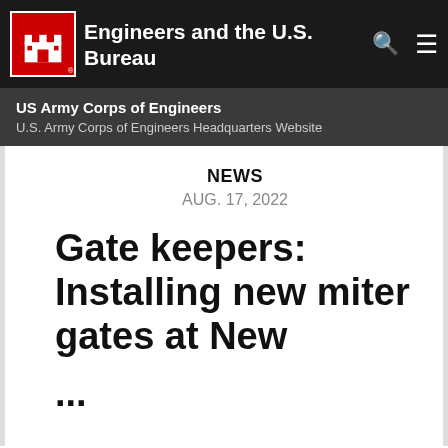Engineers and the U.S. Bureau
US Army Corps of Engineers
U.S. Army Corps of Engineers Headquarters Website
NEWS
AUG. 17, 2022
Gate keepers: Installing new miter gates at New ...